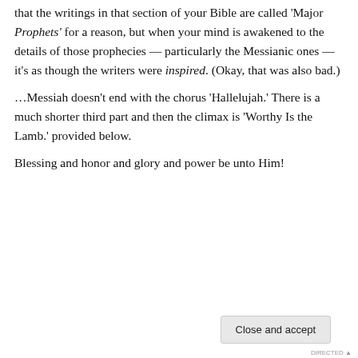that the writings in that section of your Bible are called 'Major Prophets' for a reason, but when your mind is awakened to the details of those prophecies — particularly the Messianic ones — it's as though the writers were inspired. (Okay, that was also bad.)
…Messiah doesn't end with the chorus 'Hallelujah.' There is a much shorter third part and then the climax is 'Worthy Is the Lamb.' provided below.
Blessing and honor and glory and power be unto Him!
[Figure (screenshot): Cookie consent banner overlay on a dark image background. Banner text: 'Privacy & Cookies: This site uses cookies. By continuing to use this website, you agree to their use. To find out more, including how to control cookies, see here: Cookie Policy'. A 'Close and accept' button appears at bottom right, and an X close button on the right side.]